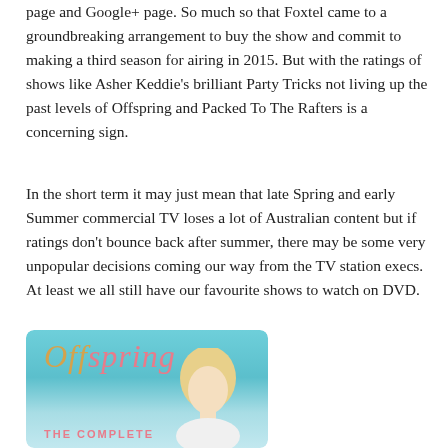page and Google+ page. So much so that Foxtel came to a groundbreaking arrangement to buy the show and commit to making a third season for airing in 2015. But with the ratings of shows like Asher Keddie's brilliant Party Tricks not living up the past levels of Offspring and Packed To The Rafters is a concerning sign.
In the short term it may just mean that late Spring and early Summer commercial TV loses a lot of Australian content but if ratings don't bounce back after summer, there may be some very unpopular decisions coming our way from the TV station execs. At least we all still have our favourite shows to watch on DVD.
[Figure (photo): DVD cover of the TV show 'Offspring' showing the title in gold and pink italic cursive text against a teal/light blue background, with a blonde woman's face partially visible. Text 'THE COMPLETE' appears at the bottom in pink capital letters.]